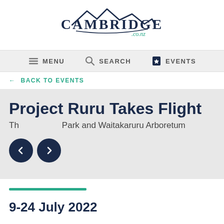[Figure (logo): Cambridge.co.nz logo with mountain silhouette above stylized text]
MENU   SEARCH   EVENTS
← BACK TO EVENTS
Project Ruru Takes Flight
The Sculpture Park and Waitakaruru Arboretum
9-24 July 2022